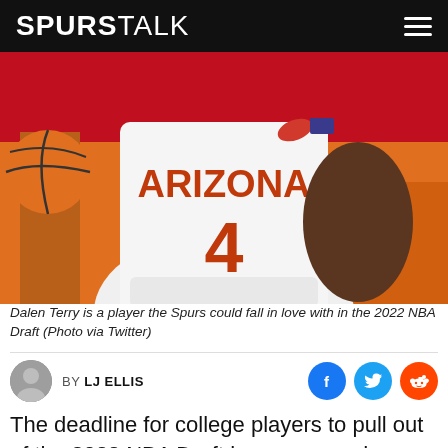SPURSTALK
[Figure (photo): Basketball player wearing Arizona #4 white jersey holding a basketball, with red and orange background]
Dalen Terry is a player the Spurs could fall in love with in the 2022 NBA Draft (Photo via Twitter)
BY LJ ELLIS
The deadline for college players to pull out of the 2022 NBA Draft has come and gone. A handful of players